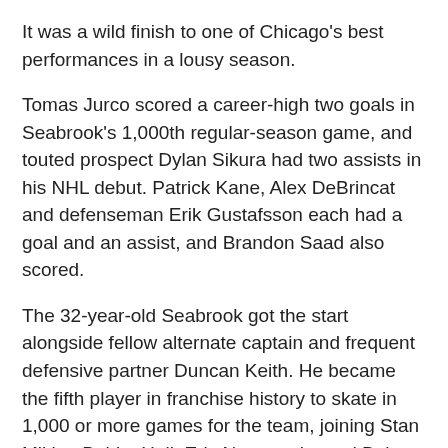It was a wild finish to one of Chicago's best performances in a lousy season.
Tomas Jurco scored a career-high two goals in Seabrook's 1,000th regular-season game, and touted prospect Dylan Sikura had two assists in his NHL debut. Patrick Kane, Alex DeBrincat and defenseman Erik Gustafsson each had a goal and an assist, and Brandon Saad also scored.
The 32-year-old Seabrook got the start alongside fellow alternate captain and frequent defensive partner Duncan Keith. He became the fifth player in franchise history to skate in 1,000 or more games for the team, joining Stan Mikita, Bobby Hull, Eric Nesterenko and Bob Murray.